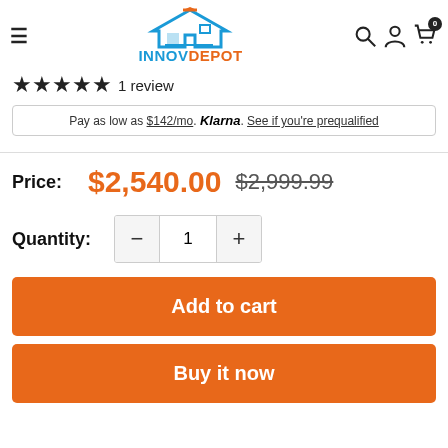INNOVDEPOT — navigation header with hamburger menu, logo, search, account, and cart icons
★★★★★ 1 review
Pay as low as $142/mo. Klarna. See if you're prequalified
Price: $2,540.00  $2,999.99
Quantity: 1
Add to cart
Buy it now